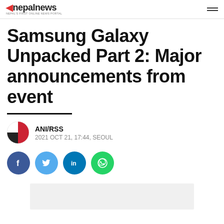Nepalnews — Nepal's first online news portal
Samsung Galaxy Unpacked Part 2: Major announcements from event
ANI/RSS
2021 OCT 21, 17:44, SEOUL
[Figure (other): Social media share buttons: Facebook, Twitter, LinkedIn, WhatsApp]
[Figure (other): Advertisement placeholder banner (grey box)]